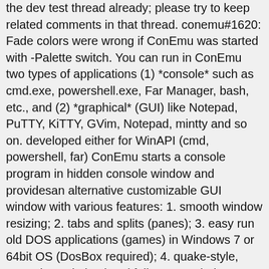the dev test thread already; please try to keep related comments in that thread. conemu#1620: Fade colors were wrong if ConEmu was started with -Palette switch. You can run in ConEmu two types of applications (1) *console* such as cmd.exe, powershell.exe, Far Manager, bash, etc., and (2) *graphical* (GUI) like Notepad, PuTTY, KiTTY, GVim, Notepad, mintty and so on. developed either for WinAPI (cmd, powershell, far) ConEmu starts a console program in hidden console window and providesan alternative customizable GUI window with various features: 1. smooth window resizing; 2. tabs and splits (panes); 3. easy run old DOS applications (games) in Windows 7 or 64bit OS (DosBox required); 4. quake-style, normal, maximized and full screen window graphic modes; 5. window font anti-aliasing: standard, clear type, disabled; 6. window fonts: family, height, width, bold, italic, etc. In general, ConEmu installation is easy. ConEmu-Maximus5. Learn how we count contributions. Most settings are configured using the Settings dialog, not from the command line. Nov 25, 2020 Last updated. Old issues for ConEmu project (import is pending) 1 test1. 2,195,819 Downloads. Readme. Screenshot. 2.